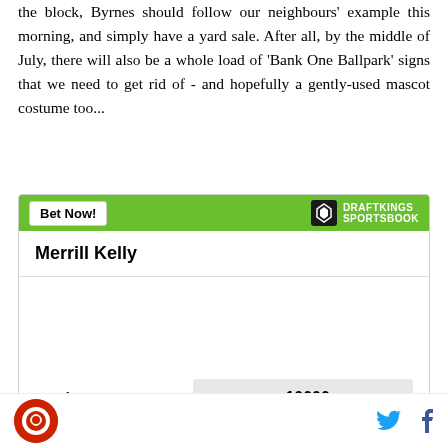the block, Byrnes should follow our neighbours' example this morning, and simply have a yard sale. After all, by the middle of July, there will also be a whole load of 'Bank One Ballpark' signs that we need to get rid of - and hopefully a gently-used mascot costume too...
[Figure (other): DraftKings Sportsbook betting widget for Merrill Kelly showing odds +10000 to win NL Cy Young]
SB Nation logo, Twitter and Facebook share icons